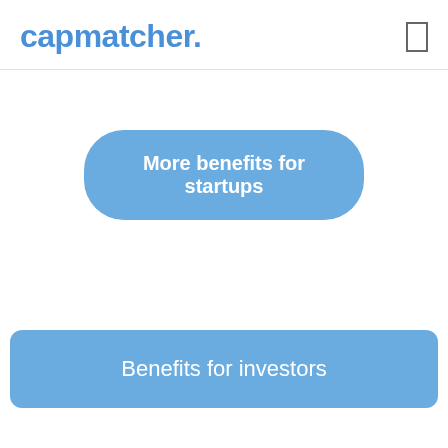capmatcher.
More benefits for startups
Benefits for investors